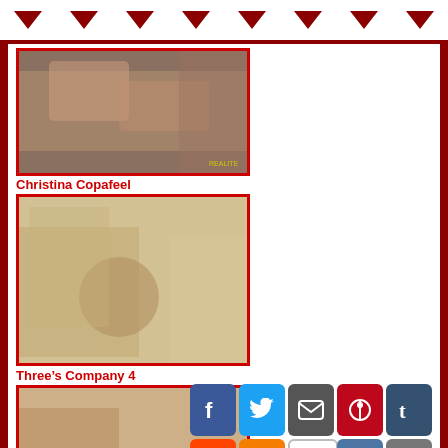navigation arrows header
[Figure (photo): Adult content thumbnail in red border]
Christina Copafeel
[Figure (photo): Adult content thumbnail in red border - two blonde women]
Three's Company 4
[Figure (photo): Adult content thumbnail partially visible with social sharing overlay]
[Figure (infographic): Social sharing buttons grid: Facebook, Twitter, Email, Pinterest, Tumblr, Reddit, Blogger, WordPress, VK, Share]